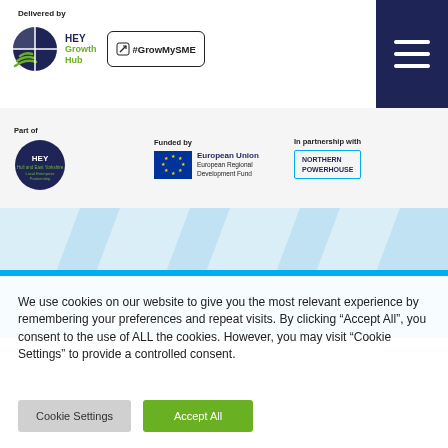Delivered by — HEY Growth Hub | #GrowMySME
[Figure (logo): HEY Growth Hub logo with circular divided icon and green/navy text]
[Figure (logo): #GrowMySME hashtag logo in bordered box with icon]
[Figure (other): Dark navy hamburger menu icon (three white horizontal lines) in top right corner]
Part of
[Figure (logo): HEY Hull and East Yorkshire Local Enterprise Partnership circular logo]
Funded by
[Figure (logo): European Union European Regional Development Fund logo with EU stars flag]
In partnership with
[Figure (logo): Northern Powerhouse logo in cyan bordered box]
[Figure (other): Light blue decorative wavy/chevron background section]
The Supply Chain
We use cookies on our website to give you the most relevant experience by remembering your preferences and repeat visits. By clicking “Accept All”, you consent to the use of ALL the cookies. However, you may visit “Cookie Settings” to provide a controlled consent.
Cookie Settings   Accept All